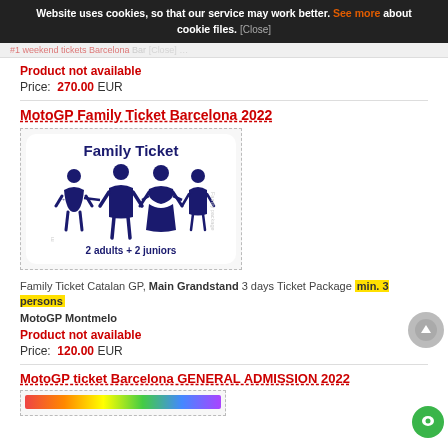Website uses cookies, so that our service may work better. See more about cookie files. [Close]
Product not available
Price: 270.00 EUR
MotoGP Family Ticket Barcelona 2022
[Figure (illustration): Family Ticket image showing 4 family member silhouettes (2 adults + 2 juniors) in dark blue with text 'Family Ticket' and '2 adults + 2 juniors'. Watermarks: TicketsGPBarcelona.com and Family package.]
Family Ticket Catalan GP, Main Grandstand 3 days Ticket Package min. 3 persons
MotoGP Montmelo
Product not available
Price: 120.00 EUR
MotoGP ticket Barcelona GENERAL ADMISSION 2022